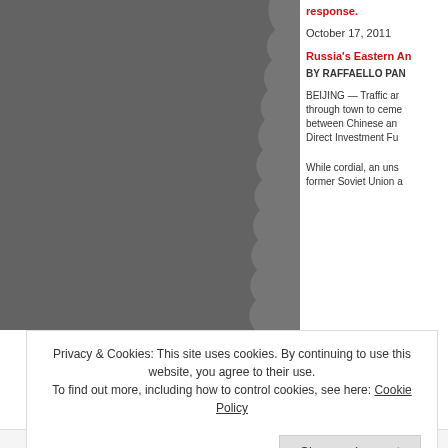[Figure (photo): Dark grey photograph occupying the left portion of the page with a torn/ragged right edge]
response.
October 17, 2011
Russia's Eastern An
BY RAFFAELLO PAN
BEIJING — Traffic ar through town to ceme between Chinese an Direct Investment Fu
While cordial, an uns former Soviet Union a
Privacy & Cookies: This site uses cookies. By continuing to use this website, you agree to their use. To find out more, including how to control cookies, see here: Cookie Policy
Close and accept
AIRPORT-TIME.AE